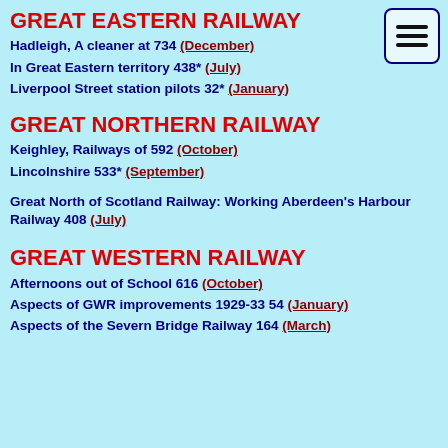GREAT EASTERN RAILWAY
Hadleigh, A cleaner at 734 (December)
In Great Eastern territory 438* (July)
Liverpool Street station pilots 32* (January)
GREAT NORTHERN RAILWAY
Keighley, Railways of 592 (October)
Lincolnshire 533* (September)
Great North of Scotland Railway: Working Aberdeen's Harbour Railway 408 (July)
GREAT WESTERN RAILWAY
Afternoons out of School 616 (October)
Aspects of GWR improvements 1929-33 54 (January)
Aspects of the Severn Bridge Railway 164 (March)